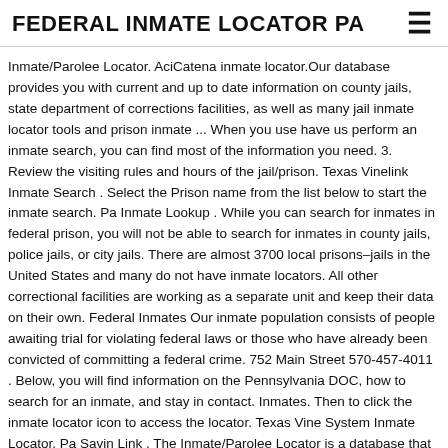FEDERAL INMATE LOCATOR PA
Inmate/Parolee Locator. AciCatena inmate locator.Our database provides you with current and up to date information on county jails, state department of corrections facilities, as well as many jail inmate locator tools and prison inmate ... When you use have us perform an inmate search, you can find most of the information you need. 3. Review the visiting rules and hours of the jail/prison. Texas Vinelink Inmate Search . Select the Prison name from the list below to start the inmate search. Pa Inmate Lookup . While you can search for inmates in federal prison, you will not be able to search for inmates in county jails, police jails, or city jails. There are almost 3700 local prisons–jails in the United States and many do not have inmate locators. All other correctional facilities are working as a separate unit and keep their data on their own. Federal Inmates Our inmate population consists of people awaiting trial for violating federal laws or those who have already been convicted of committing a federal crime. 752 Main Street 570-457-4011 . Below, you will find information on the Pennsylvania DOC, how to search for an inmate, and stay in contact. Inmates. Then to click the inmate locator icon to access the locator. Texas Vine System Inmate Locator. Pa Savin Link . The Inmate/Parolee Locator is a database that contains information about each inmate and